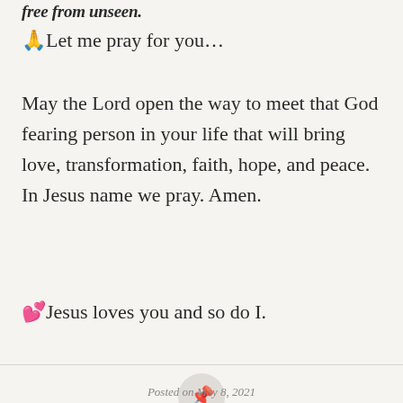free from unseen.
🙏Let me pray for you…
May the Lord open the way to meet that God fearing person in your life that will bring love, transformation, faith, hope, and peace. In Jesus name we pray. Amen.
💕Jesus loves you and so do I.
Posted on May 8, 2021